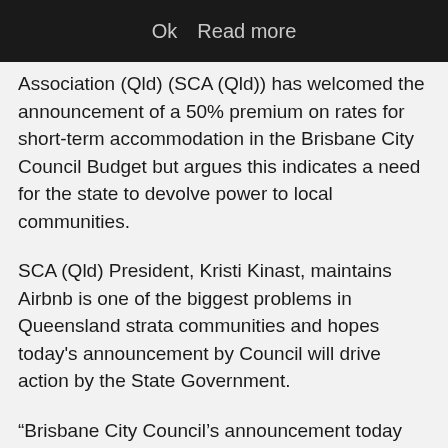Ok   Read more
Association (Qld) (SCA (Qld)) has welcomed the announcement of a 50% premium on rates for short-term accommodation in the Brisbane City Council Budget but argues this indicates a need for the state to devolve power to local communities.
SCA (Qld) President, Kristi Kinast, maintains Airbnb is one of the biggest problems in Queensland strata communities and hopes today's announcement by Council will drive action by the State Government.
“Brisbane City Council’s announcement today affirms what we already know in the Queensland strata sector: short-term letting is a serious